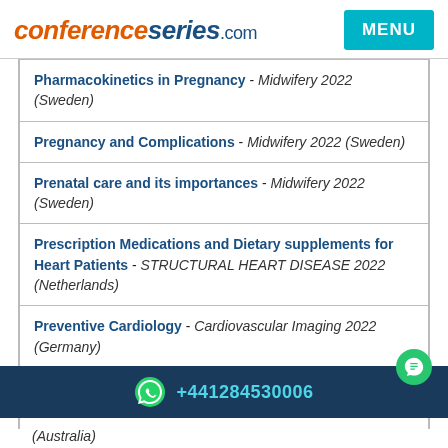conferenceseries.com
Pharmacokinetics in Pregnancy - Midwifery 2022 (Sweden)
Pregnancy and Complications - Midwifery 2022 (Sweden)
Prenatal care and its importances - Midwifery 2022 (Sweden)
Prescription Medications and Dietary supplements for Heart Patients - STRUCTURAL HEART DISEASE 2022 (Netherlands)
Preventive Cardiology - Cardiovascular Imaging 2022 (Germany)
Preventive Cardiology & Rehabilitation - CARDIAC IMAGING MEET 2022 (Italy)
+441284530006
(Australia)